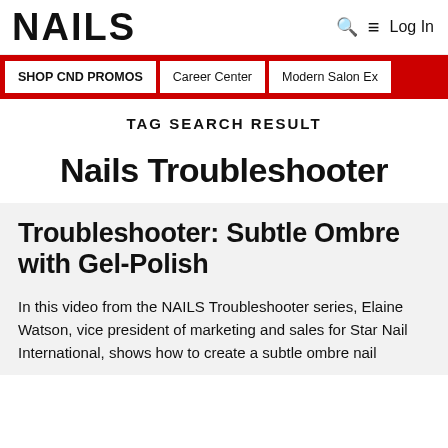NAILS
SHOP CND PROMOS | Career Center | Modern Salon Ex
TAG SEARCH RESULT
Nails Troubleshooter
Troubleshooter: Subtle Ombre with Gel-Polish
In this video from the NAILS Troubleshooter series, Elaine Watson, vice president of marketing and sales for Star Nail International, shows how to create a subtle ombre nail